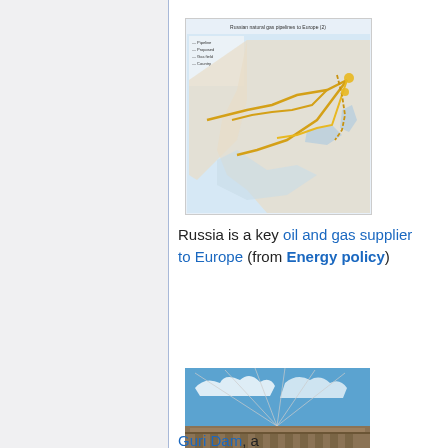[Figure (map): Map of Russian oil and gas pipelines supplying Europe, showing pipeline routes across Eastern and Western Europe]
Russia is a key oil and gas supplier to Europe (from Energy policy)
[Figure (photo): Aerial photograph of Guri Dam, a large hydroelectric dam structure]
Guri Dam, a